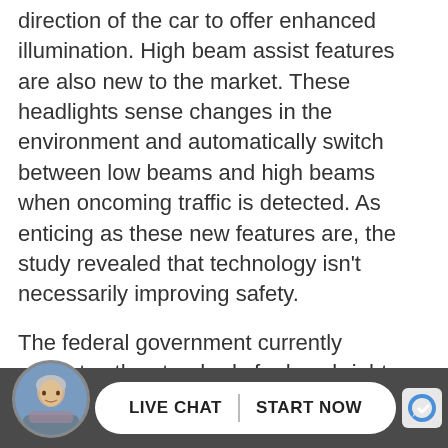direction of the car to offer enhanced illumination. High beam assist features are also new to the market. These headlights sense changes in the environment and automatically switch between low beams and high beams when oncoming traffic is detected. As enticing as these new features are, the study revealed that technology isn't necessarily improving safety.
The federal government currently regulates the standards for how bright headlights should be, but there are no current standards on the distance the lights should extend. The IIHS set a distance of 330 feet in the study as the standard for safe illumination. The Toyota Prius was the only vehicle that met that standard of safety. The BMW3 measured a projection of only 130 feet.
The [partial] fin...
[Figure (other): Bottom bar with avatar photo of a woman, a live chat button reading 'LIVE CHAT START NOW', and a reCAPTCHA icon]